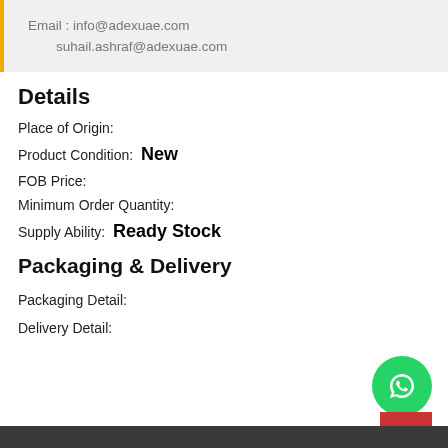Email : info@adexuae.com
suhail.ashraf@adexuae.com
Details
Place of Origin:
Product Condition:  New
FOB Price:
Minimum Order Quantity:
Supply Ability:  Ready Stock
Packaging & Delivery
Packaging Detail:
Delivery Detail: